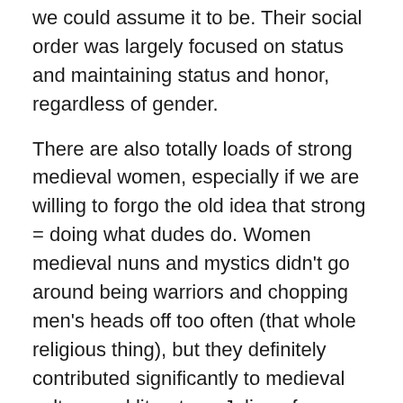we could assume it to be. Their social order was largely focused on status and maintaining status and honor, regardless of gender.
There are also totally loads of strong medieval women, especially if we are willing to forgo the old idea that strong = doing what dudes do. Women medieval nuns and mystics didn't go around being warriors and chopping men's heads off too often (that whole religious thing), but they definitely contributed significantly to medieval culture and literature. Julian of Norwich (http://en.wikipedia.org/wiki/Julian_of_Norwich) and Marguerite Porete (http://en.wikipedia.org/wiki/Marguerite_Por...